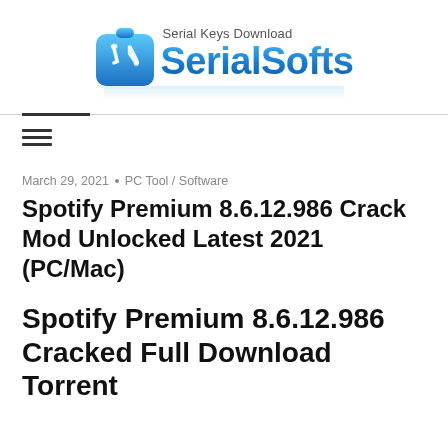[Figure (logo): SerialSofts logo with wrench/tools icon in blue gradient box and text 'Serial Keys Download SerialSofts']
March 29, 2021  •  PC Tool / Software
Spotify Premium 8.6.12.986 Crack Mod Unlocked Latest 2021 (PC/Mac)
Spotify Premium 8.6.12.986 Cracked Full Download Torrent